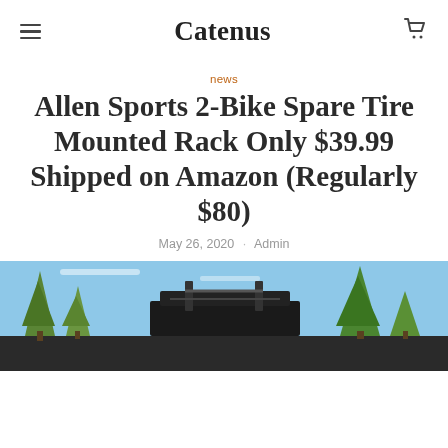Catenus
news
Allen Sports 2-Bike Spare Tire Mounted Rack Only $39.99 Shipped on Amazon (Regularly $80)
May 26, 2020 · Admin
[Figure (photo): Photo of a bike rack mounted on a spare tire of a vehicle, with trees and blue sky in the background]